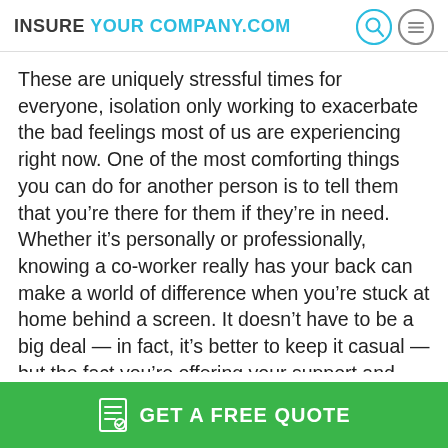INSURE YOUR COMPANY.COM
These are uniquely stressful times for everyone, isolation only working to exacerbate the bad feelings most of us are experiencing right now. One of the most comforting things you can do for another person is to tell them that you’re there for them if they’re in need. Whether it’s personally or professionally, knowing a co-worker really has your back can make a world of difference when you’re stuck at home behind a screen. It doesn’t have to be a big deal — in fact, it’s better to keep it casual — but the fact you’re offering your support and being available to others is likely to make your relationship with your co-workers a lot
GET A FREE QUOTE